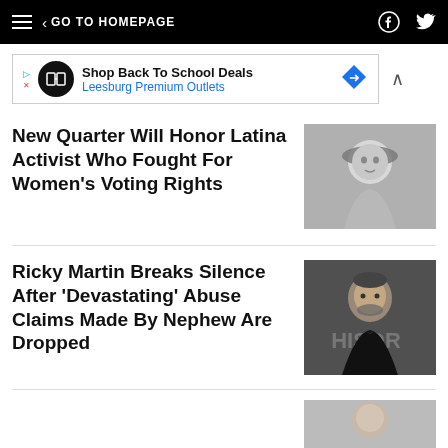GO TO HOMEPAGE
[Figure (other): Advertisement banner: Shop Back To School Deals – Leesburg Premium Outlets]
New Quarter Will Honor Latina Activist Who Fought For Women's Voting Rights
[Figure (photo): Black and white photo of a woman wearing a hat]
Ricky Martin Breaks Silence After 'Devastating' Abuse Claims Made By Nephew Are Dropped
[Figure (photo): Color photo of Ricky Martin in black suit at event with HISOR backdrop]